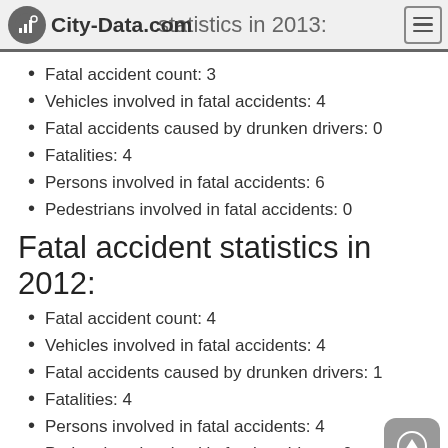City-Data.com statistics in 2013:
Fatal accident count: 3
Vehicles involved in fatal accidents: 4
Fatal accidents caused by drunken drivers: 0
Fatalities: 4
Persons involved in fatal accidents: 6
Pedestrians involved in fatal accidents: 0
Fatal accident statistics in 2012:
Fatal accident count: 4
Vehicles involved in fatal accidents: 4
Fatal accidents caused by drunken drivers: 1
Fatalities: 4
Persons involved in fatal accidents: 4
Pedestrians involved in fatal accidents: 0
2009–2013 Fatal accident statistics (partial)